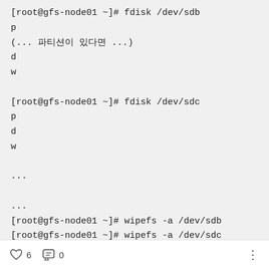[root@gfs-node01 ~]# fdisk /dev/sdb
p
(... 파티션이 있다면 ...)
d
w

[root@gfs-node01 ~]# fdisk /dev/sdc
p
d
w

...

...
[root@gfs-node01 ~]# wipefs -a /dev/sdb
[root@gfs-node01 ~]# wipefs -a /dev/sdc
[root@gfs-node01 ~]# wipefs -a /dev/sdd
♡ 6   💬 0   ⋮